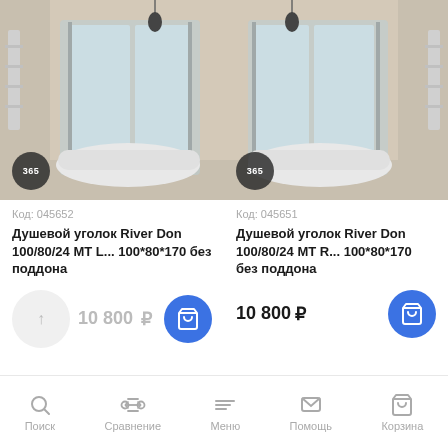[Figure (photo): Shower cabin product photo left - River Don 100/80/24 MT L, with 365 badge]
Код: 045652
Душевой уголок River Don 100/80/24 MT L... 100*80*170 без поддона
10 800 ₽
[Figure (photo): Shower cabin product photo right - River Don 100/80/24 MT R, with 365 badge]
Код: 045651
Душевой уголок River Don 100/80/24 MT R... 100*80*170 без поддона
10 800 ₽
Поиск  Сравнение  Меню  Помощь  Корзина